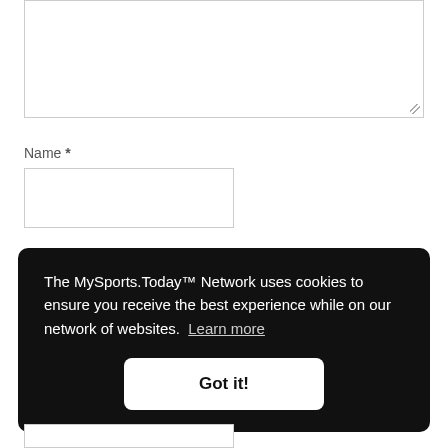[Figure (screenshot): A textarea input box with a resize handle in the bottom-right corner]
Name *
[Figure (screenshot): A name input text field]
The MySports.Today™ Network uses cookies to ensure you receive the best experience while on our network of websites. Learn more
Got it!